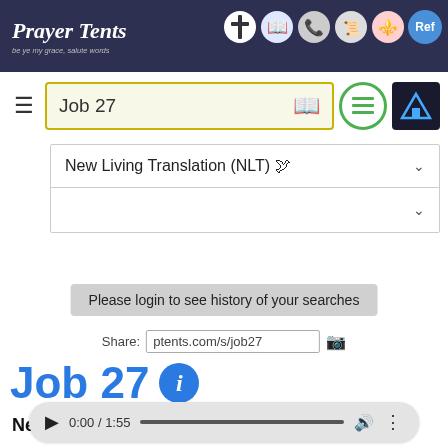Prayer Tents
Job 27
New Living Translation (NLT) 🕊
Please login to see history of your searches
Share: ptents.com/s/job27
Job 27
New Living Translation
0:00 / 1:55